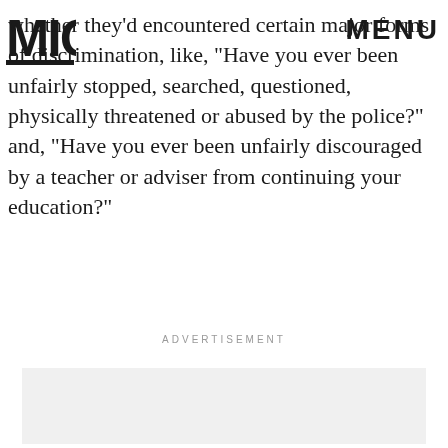MIC | MENU
whether they'd encountered certain major forms of discrimination, like, "Have you ever been unfairly stopped, searched, questioned, physically threatened or abused by the police?" and, "Have you ever been unfairly discouraged by a teacher or adviser from continuing your education?"
ADVERTISEMENT